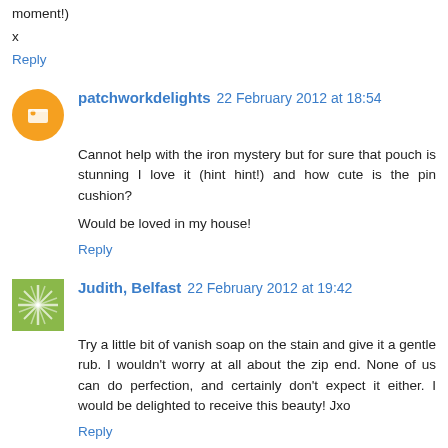moment!)
x
Reply
patchworkdelights 22 February 2012 at 18:54
Cannot help with the iron mystery but for sure that pouch is stunning I love it (hint hint!) and how cute is the pin cushion?
Would be loved in my house!
Reply
Judith, Belfast 22 February 2012 at 19:42
Try a little bit of vanish soap on the stain and give it a gentle rub. I wouldn't worry at all about the zip end. None of us can do perfection, and certainly don't expect it either. I would be delighted to receive this beauty! Jxo
Reply